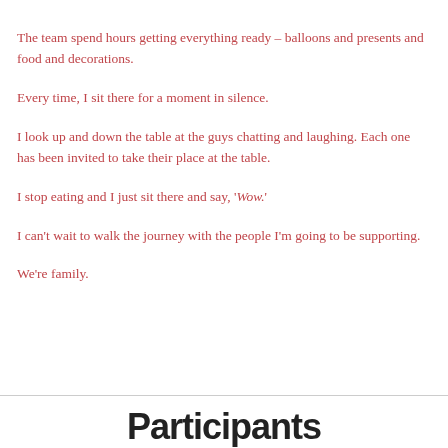The team spend hours getting everything ready – balloons and presents and food and decorations.
Every time, I sit there for a moment in silence.
I look up and down the table at the guys chatting and laughing. Each one has been invited to take their place at the table.
I stop eating and I just sit there and say, 'Wow.'
I can't wait to walk the journey with the people I'm going to be supporting.
We're family.
Participants